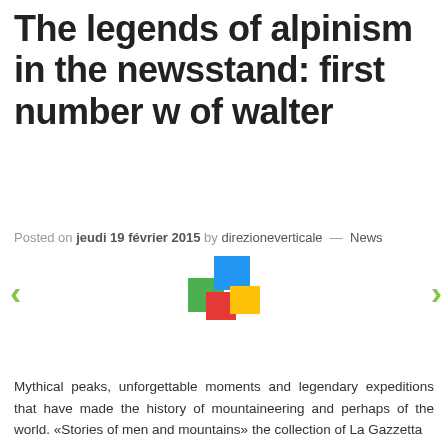The legends of alpinism in the newsstand: first number w of walter
Posted on jeudi 19 février 2015 by direzioneverticale — News
[Figure (logo): Colorful overlapping squares logo — blue, green, red, yellow squares arranged in a cluster]
Mythical peaks, unforgettable moments and legendary expeditions that have made the history of mountaineering and perhaps of the world. «Stories of men and mountains» the collection of La Gazzetta